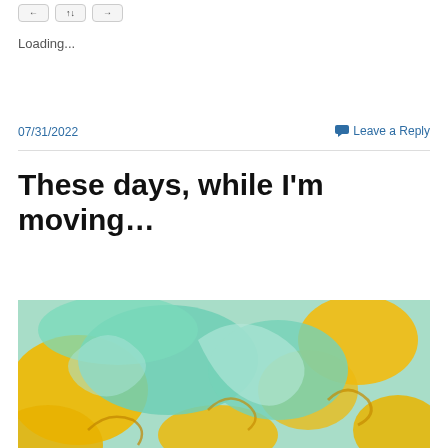[buttons row]
Loading...
07/31/2022
Leave a Reply
These days, while I'm moving…
[Figure (illustration): Abstract fluid art painting with teal/mint green and golden yellow swirling shapes resembling stylized organic forms or reptile silhouettes against a light background]